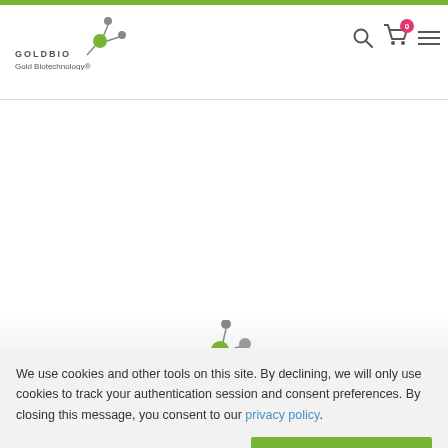GOLDBIO Gold Biotechnology®
[Figure (logo): GoldBio logo with molecule graphic and text 'GOLDBIO / Gold Biotechnology®', plus search icon, cart with badge '0', and hamburger menu icon]
[Figure (illustration): Partial GoldBio molecule/loading spinner illustration visible at the bottom of the white content area]
We use cookies and other tools on this site. By declining, we will only use cookies to track your authentication session and consent preferences. By closing this message, you consent to our privacy policy.
ACCEPT AND CLOSE